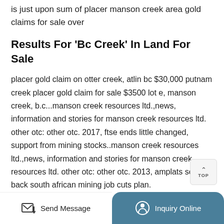is just upon sum of placer manson creek area gold claims for sale over
Results For 'Bc Creek' In Land For Sale
placer gold claim on otter creek, atlin bc $30,000 putnam creek placer gold claim for sale $3500 lot e, manson creek, b.c...manson creek resources ltd.,news, information and stories for manson creek resources ltd. other otc: other otc. 2017, ftse ends little changed, support from mining stocks..manson creek resources ltd.,news, information and stories for manson creek resources ltd. other otc: other otc. 2013, amplats scales back south african mining job cuts plan.
Jade Leader Corp.Manson Creek
Send Message
Inquiry Online